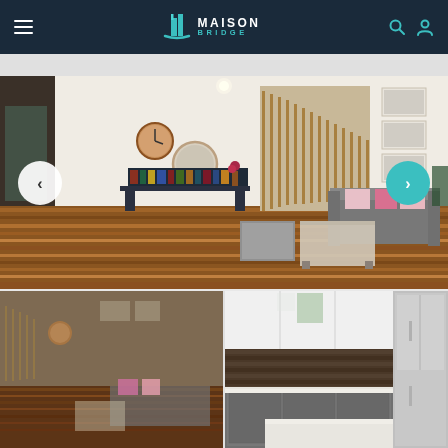[Figure (screenshot): Maison Bridge real estate website header with hamburger menu on the left, Maison Bridge logo in center, and search/user icons on the right, on dark navy background]
[Figure (photo): Large interior photo of a living room with hardwood floors, staircase with wooden railings, grey sofa with pink cushions, bookshelf, framed artwork on white walls, navigation arrows overlaid on left and right sides]
[Figure (photo): Thumbnail photo of same living room interior, slightly darker, showing seating area with pink accents and hardwood floor]
[Figure (photo): Thumbnail photo of modern kitchen with grey cabinetry, white marble countertop, stainless steel refrigerator, and brick-style backsplash]